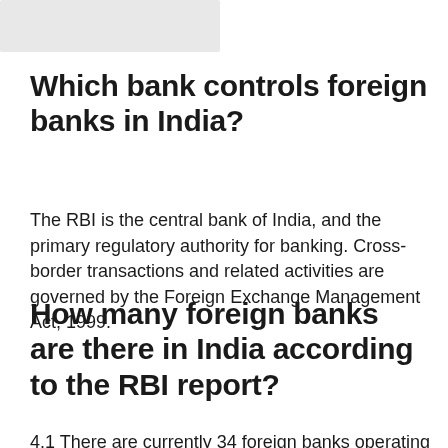[Figure (other): A light grey placeholder image in the top-left area of the page.]
Which bank controls foreign banks in India?
The RBI is the central bank of India, and the primary regulatory authority for banking. Cross-border transactions and related activities are governed by the Foreign Exchange Management Act, 1999.
How many foreign banks are there in India according to the RBI report?
4.1 There are currently 34 foreign banks operating in India, and they...